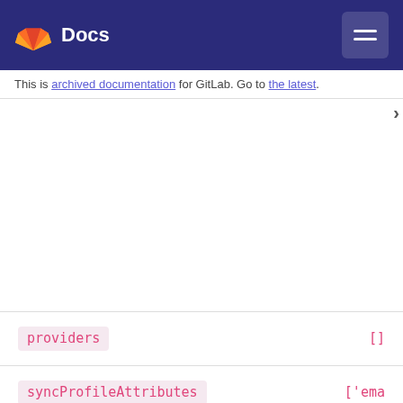Docs
This is archived documentation for GitLab. Go to the latest.
| Property | Value |
| --- | --- |
| providers | [] |
| syncProfileAttributes | ['ema... |